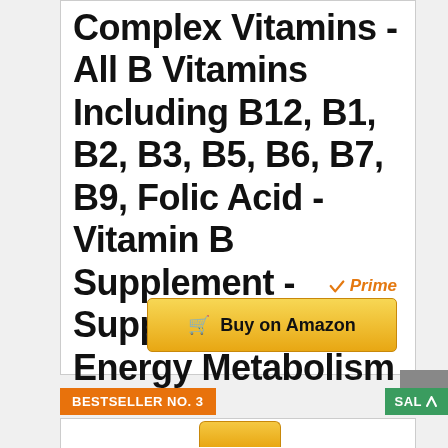Complex Vitamins - All B Vitamins Including B12, B1, B2, B3, B5, B6, B7, B9, Folic Acid - Vitamin B Supplement - Support Healthy Energy Metabolism - 90 Vegetarian Capsules
[Figure (logo): Amazon Prime badge with orange checkmark and italic 'Prime' text in orange]
[Figure (other): Golden 'Buy on Amazon' button with shopping cart icon]
BESTSELLER NO. 3
SALE